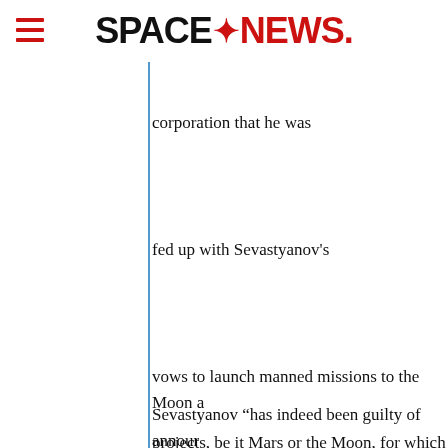SPACENEWS
corporation that he was
fed up with Sevastyanov's
vows to launch manned missions to the Moon a
Sevastyanov “has indeed been guilty of annour
projects, be it Mars or the Moon, for which neith
Roskosmos had a budget for,” the Energia offic